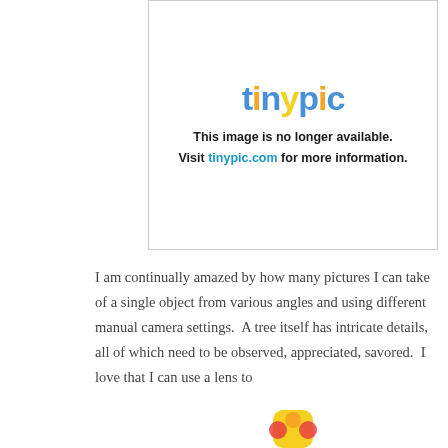[Figure (screenshot): Tinypic image placeholder showing colorful 'tinypic' logo and message: 'This image is no longer available. Visit tinypic.com for more information.']
I am continually amazed by how many pictures I can take of a single object from various angles and using different manual camera settings.  A tree itself has intricate details, all of which need to be observed, appreciated, savored.  I love that I can use a lens to
Privacy & Cookies: This site uses cookies. By continuing to use this website, you agree to their use.
To find out more, including how to control cookies, see here: Cookie Policy
Close and accept
[Figure (screenshot): Bottom portion of tinypic logo graphic visible at the very bottom of the page]